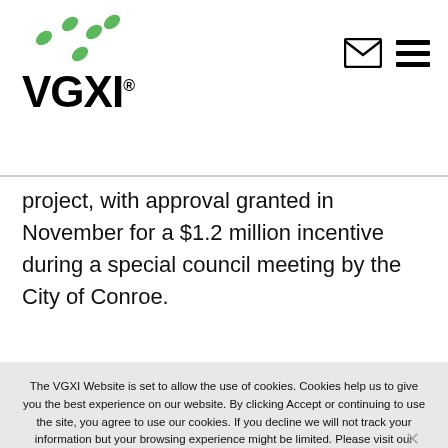[Figure (logo): VGXI logo with green dots pattern above bold VGXI text with registered trademark symbol]
project, with approval granted in November for a $1.2 million incentive during a special council meeting by the City of Conroe.
The VGXI Website is set to allow the use of cookies. Cookies help us to give you the best experience on our website. By clicking Accept or continuing to use the site, you agree to use our cookies. If you decline we will not track your information but your browsing experience might be limited. Please visit our Terms and Conditions and our Privacy Policy for more information.